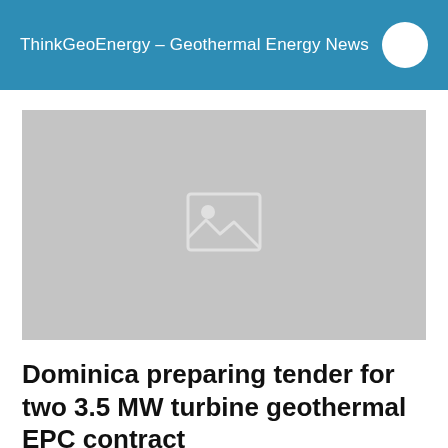ThinkGeoEnergy – Geothermal Energy News
[Figure (photo): Placeholder image with broken image icon indicating a missing or unloaded photograph]
Dominica preparing tender for two 3.5 MW turbine geothermal EPC contract